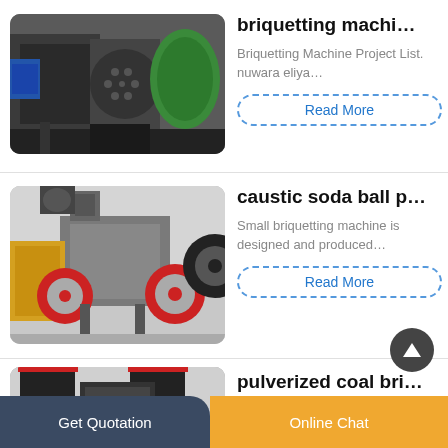[Figure (photo): Industrial briquetting machine, black metal body with large roller and green component visible]
briquetting machi…
Briquetting Machine Project List. nuwara eliya…
Read More
[Figure (photo): Caustic soda ball press machine, grey industrial machine with red flywheels]
caustic soda ball p…
Small briquetting machine is designed and produced…
Read More
[Figure (photo): Pulverized coal briquetting machine, black equipment with red-edged hoppers]
pulverized coal bri…
Get Quotation   Online Chat